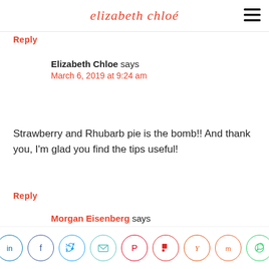elizabeth chloé
Reply
Elizabeth Chloe says
March 6, 2019 at 9:24 am
Strawberry and Rhubarb pie is the bomb!! And thank you, I'm glad you find the tips useful!
Reply
Morgan Eisenberg says
March 5, 2019 at 8:13 pm
[Figure (infographic): Social share buttons row: LinkedIn, Facebook, Twitter, Email, Pinterest, Flipboard, Yummly, Mix, WhatsApp]